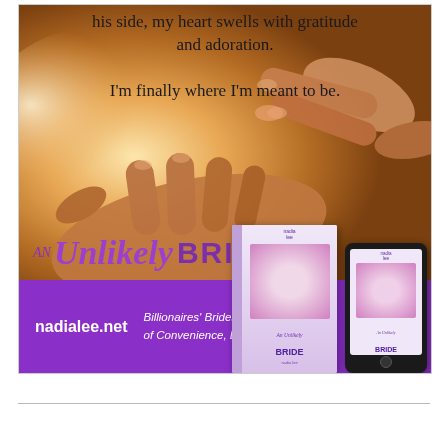[Figure (illustration): Book promotional image for 'An Unlikely Bride' by Nadia Lee. Features two hands touching against a warm golden backlit background with quote text overlay: 'his side, my heart swells with gratitude and adoration. I'm finally where I'm meant to be.' Bottom shows purple band with book title, nadialee.net, 'Billionaires' Brides of Convenience, Book 7', and book/e-reader mockups.]